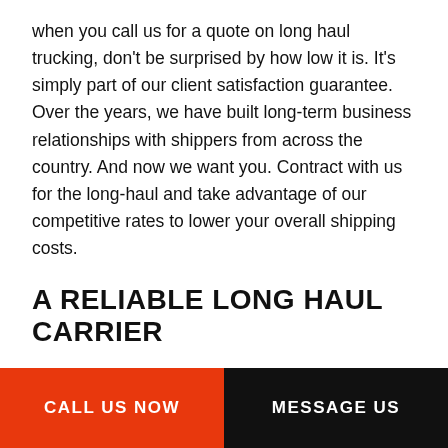when you call us for a quote on long haul trucking, don't be surprised by how low it is. It's simply part of our client satisfaction guarantee. Over the years, we have built long-term business relationships with shippers from across the country. And now we want you. Contract with us for the long-haul and take advantage of our competitive rates to lower your overall shipping costs.
A RELIABLE LONG HAUL CARRIER
We take every precaution to ensure that your goods arrive in perfect condition. All our loaders, packers, and drivers are given extensive training to ensure that our services remain the most sought-after on the market. Everything that goes
CALL US NOW | MESSAGE US